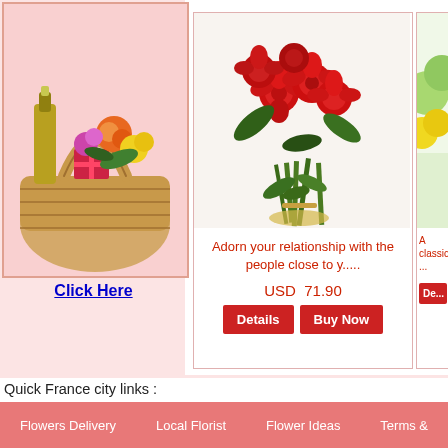[Figure (photo): Wicker gift basket with champagne bottle, flowers, and chocolates on pink background]
Click Here
[Figure (photo): Bouquet of red roses with long stems and green leaves]
Adorn your relationship with the people close to y.....
USD  71.90
[Figure (photo): Partial view of yellow and green flower arrangement]
A classic ...
Quick France city links :
Kids Gifts to Boulogne-sur-Mer , Mother's Day gifts Mulhouse , Send Flowers to Romans-sur-Isère ,
Christmas Hamper to Montauban , Arrangement to Épernay , New Year Flowers Chamonix-Mont-Bla
Antibes , Anniversary Gifts Villeneuve-Loubet , Holiday Hamper to Saint-Avold , Corporate Gifts to P
Flowers Delivery   Local Florist   Flower Ideas   Terms &